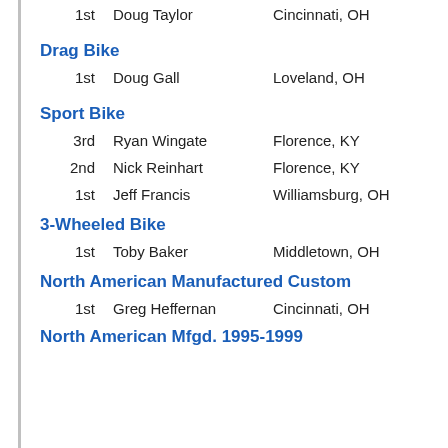1st   Doug Taylor   Cincinnati, OH
Drag Bike
1st   Doug Gall   Loveland, OH
Sport Bike
3rd   Ryan Wingate   Florence, KY
2nd   Nick Reinhart   Florence, KY
1st   Jeff Francis   Williamsburg, OH
3-Wheeled Bike
1st   Toby Baker   Middletown, OH
North American Manufactured Custom
1st   Greg Heffernan   Cincinnati, OH
North American Mfgd. 1995-1999